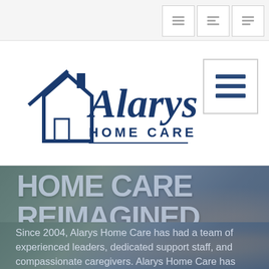[Figure (logo): Alarys Home Care logo with house icon and blue script text]
[Figure (other): Navigation hamburger menu icon]
HOME CARE REIMAGINED
Since 2004, Alarys Home Care has had a team of experienced leaders, dedicated support staff, and compassionate caregivers. Alarys Home Care has quickly become a leader in home care services in